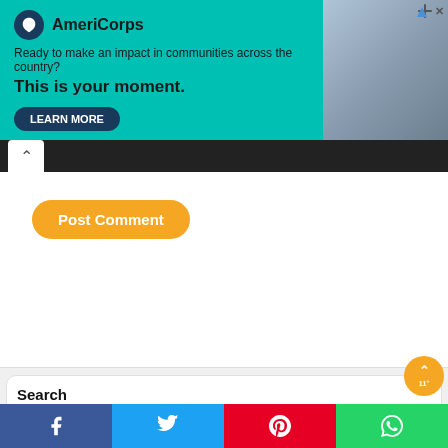[Figure (screenshot): AmeriCorps advertisement banner: teal background with logo, tagline 'Ready to make an impact in communities across the country?', bold text 'This is your moment.', and a dark navy LEARN MORE button. Right side shows a photo of a person.]
Post Comment
Search
Search Articles
Search
Categories
Mechanics
Facebook  Twitter  Pinterest  WhatsApp